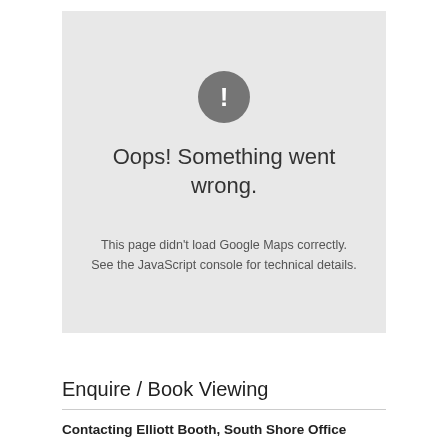[Figure (screenshot): Google Maps error box with gray background, circular exclamation icon, title 'Oops! Something went wrong.', and body text about the page not loading Google Maps correctly.]
Open in Google Maps
Enquire / Book Viewing
Contacting Elliott Booth, South Shore Office